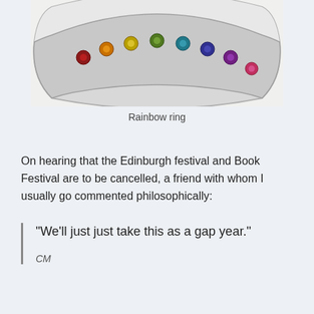[Figure (photo): Close-up photo of a silver ring with multicolored gemstones set along the band, displayed against a white background. The stones appear in rainbow colors.]
Rainbow ring
On hearing that the Edinburgh festival and Book Festival are to be cancelled, a friend with whom I usually go commented philosophically:
“We’ll just just take this as a gap year.”

CM